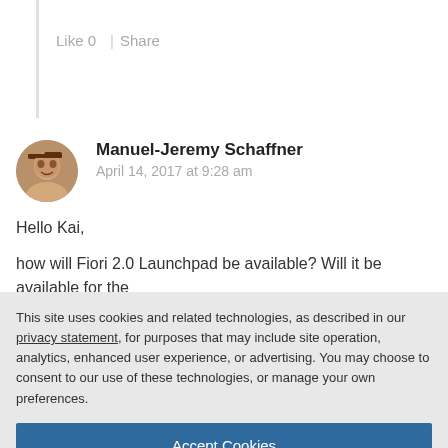Like 0  |  Share
Manuel-Jeremy Schaffner
April 14, 2017 at 9:28 am
Hello Kai,
how will Fiori 2.0 Launchpad be available? Will it be available for the
This site uses cookies and related technologies, as described in our privacy statement, for purposes that may include site operation, analytics, enhanced user experience, or advertising. You may choose to consent to our use of these technologies, or manage your own preferences.
Accept Cookies
More Information
Privacy Policy | Powered by: TrustArc